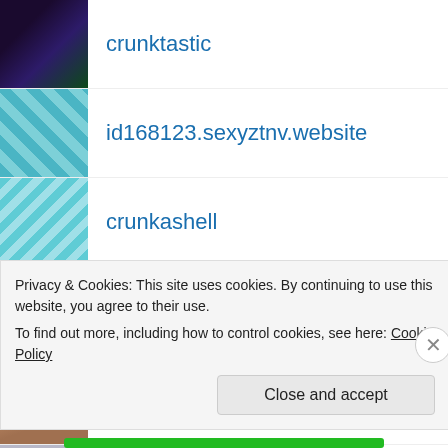crunktastic
id168123.sexyztnv.website
crunkashell
crunkista
eeshap
crunkadelic
fit2bcrunk
jalylah
Privacy & Cookies: This site uses cookies. By continuing to use this website, you agree to their use.
To find out more, including how to control cookies, see here: Cookie Policy
Close and accept